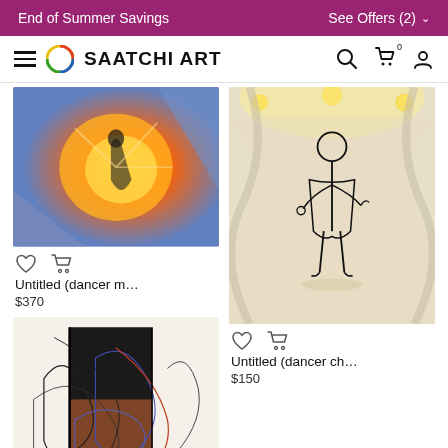End of Summer Savings  |  See Offers (2)
SAATCHI ART
[Figure (photo): Artwork thumbnail: colorful painting with orange burst and figure, Untitled (dancer m...)]
Untitled (dancer m…
$370
[Figure (photo): Artwork thumbnail: line drawing of a standing figure in a grand interior space, Untitled (dancer ch...)]
Untitled (dancer ch…
$150
[Figure (photo): Artwork thumbnail: abstract figure drawing with black and orange lines on white background]